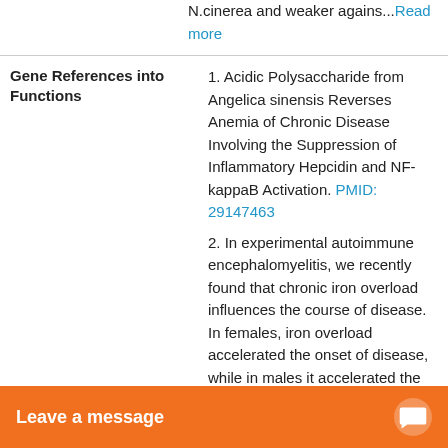N.cinerea and weaker agains... Read more
Gene References into Functions
1. Acidic Polysaccharide from Angelica sinensis Reverses Anemia of Chronic Disease Involving the Suppression of Inflammatory Hepcidin and NF-kappaB Activation. PMID: 29147463
2. In experimental autoimmune encephalomyelitis, we recently found that chronic iron overload influences the course of disease. In females, iron overload accelerated the onset of disease, while in males it accelerated the progression of
Show More
Subcellular Location
Secreted.
Protein Families
Hepcidin family
Database Links
KEGG: h
STRING
Leave a message